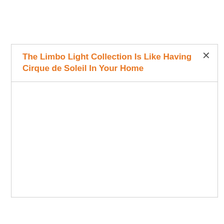The Limbo Light Collection Is Like Having Cirque de Soleil In Your Home